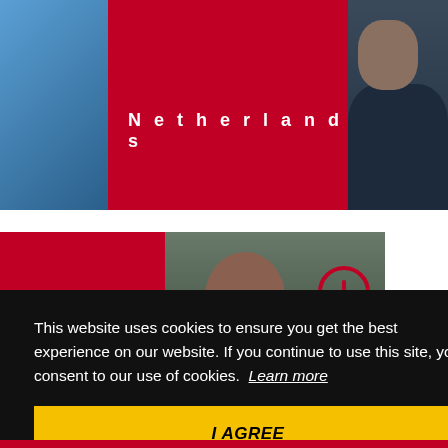[Figure (photo): Top section with red panel showing 'Netherlands' label, partial blue image on left, and partial person photo on right]
[Figure (photo): Middle section with red panel on left and photo of a person with a red lightbulb icon overlay on the right]
This website uses cookies to ensure you get the best experience on our website. If you continue to use this site, you consent to our use of cookies. Learn more
I AGREE